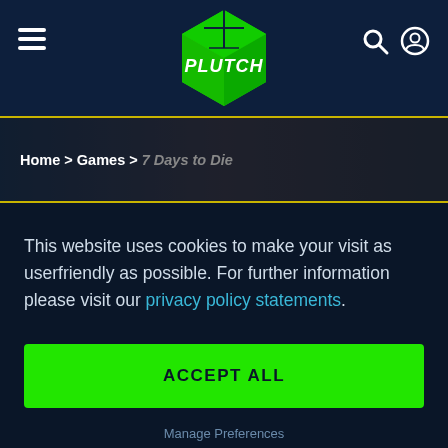Plutch navigation bar with hamburger menu, logo, search and account icons
Home > Games > 7 Days to Die
This website uses cookies to make your visit as userfriendly as possible. For further information please visit our privacy policy statements.
ACCEPT ALL
Manage Preferences